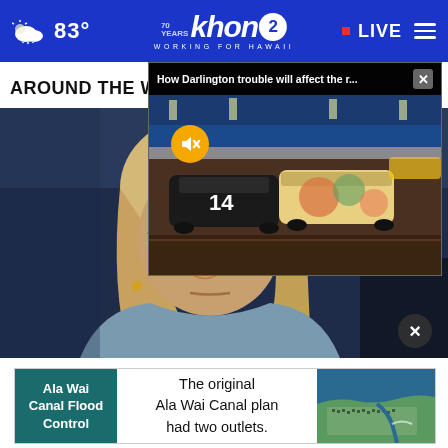khon2 — WORKING FOR HAWAII — 83° — LIVE
AROUND THE WEB
[Figure (screenshot): Popup video player overlay showing NASCAR race cars on track at Darlington, with header text 'How Darlington trouble will affect the r...' and a yellow mute button]
[Figure (photo): Close-up photo of a middle-aged blonde woman wearing dark-rimmed glasses, with a serious expression, photographed against a blurred background with blue/flag-like elements]
[Figure (screenshot): Advertisement banner for 'Ala Wai Canal Flood Control' with text 'The original Ala Wai Canal plan had two outlets.' and an aerial map image on the right]